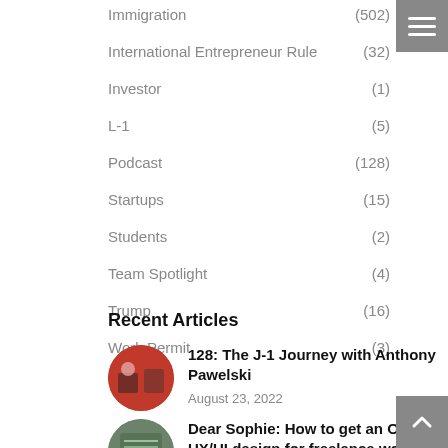Immigration (502)
International Entrepreneur Rule (32)
Investor (1)
L-1 (5)
Podcast (128)
Startups (15)
Students (2)
Team Spotlight (4)
Trump (16)
Work Permit (3)
Recent Articles
128: The J-1 Journey with Anthony Pawelski
August 23, 2022
Dear Sophie: How to get an O-1 for UX/UI design for freelance work?